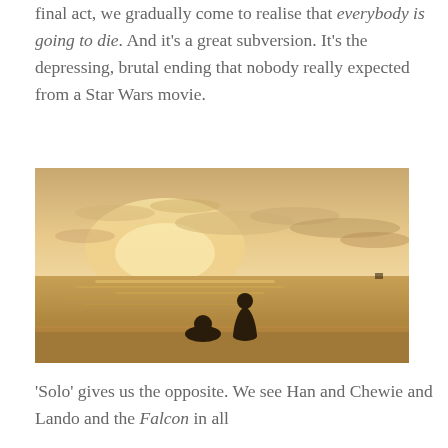final act, we gradually come to realise that everybody is going to die. And it's a great subversion. It's the depressing, brutal ending that nobody really expected from a Star Wars movie.
[Figure (photo): A cinematic sunset beach scene with two silhouetted figures sitting together on the shore, golden-orange sky with clouds reflected on calm water.]
'Solo' gives us the opposite. We see Han and Chewie and Lando and the Falcon in all